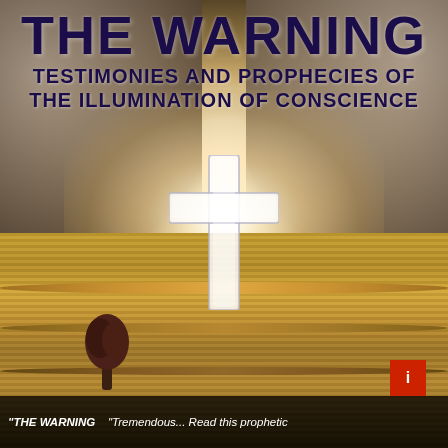[Figure (illustration): Book cover image: dramatic sky with radiant light rays emanating from behind a glowing white Christian cross, golden rolling fields below with a lone tree, dark storm clouds on the sides]
THE WARNING TESTIMONIES AND PROPHECIES OF THE ILLUMINATION OF CONSCIENCE
"THE WARNING    "Tremendous... Read this prophetic